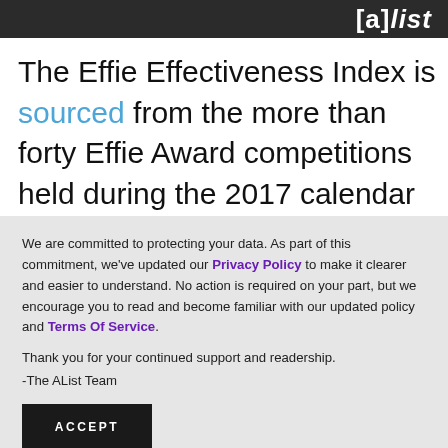[a]list
The Effie Effectiveness Index is sourced from the more than forty Effie Award competitions held during the 2017 calendar year, awarding points based on what prizes brands and marketers won for their work. For instance, a Pl...
We are committed to protecting your data. As part of this commitment, we've updated our Privacy Policy to make it clearer and easier to understand. No action is required on your part, but we encourage you to read and become familiar with our updated policy and Terms Of Service.
Thank you for your continued support and readership.
-The AList Team
ACCEPT